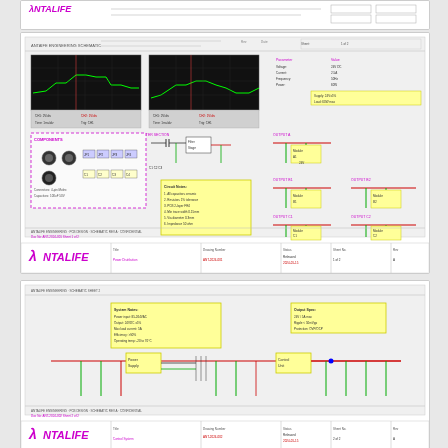[Figure (schematic): Partial view of Antalife engineering schematic document at top of page, showing logo and partial title bar]
[Figure (schematic): Full engineering schematic drawing showing circuit/wiring diagrams with oscilloscope traces, component diagrams, yellow note boxes, green and red wiring lines, and Antalife branding in footer. Contains multiple sub-schematics including signal waveform displays and connection diagrams.]
[Figure (schematic): Partial engineering schematic drawing showing wiring/circuit diagram with yellow component boxes, green and red signal lines, and Antalife branding in footer. Appears to be a continuation of the schematic series.]